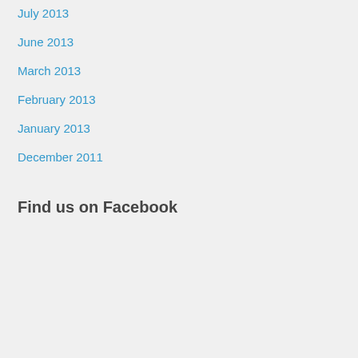July 2013
June 2013
March 2013
February 2013
January 2013
December 2011
Find us on Facebook